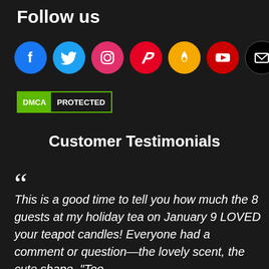Follow us
[Figure (infographic): Row of social media icon circles: Facebook (blue), Twitter (light blue), Instagram (pink/red), Pinterest (red), Candle/Flame app (yellow), YouTube (red), Email (black)]
[Figure (other): DMCA Protected badge — green left section with 'DMCA', dark right section with 'PROTECTED']
Customer Testimonials
““ This is a good time to tell you how much the 8 guests at my holiday tea on January 9 LOVED your teapot candles! Everyone had a comment or question—the lovely scent, the cute shape, “Too